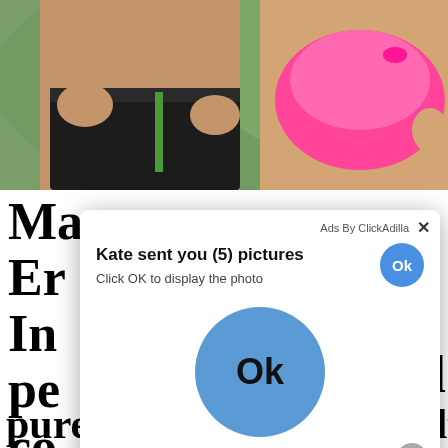[Figure (photo): Partial view of two people outdoors, one wearing dark shorts with green trim, another in a pink bikini bottom, with green foliage in the background.]
Ma... Nu... Co... Wi... Er... In... pe... co... fa... lo... l ne... Eu... puremiusm gallery, lovely
[Figure (screenshot): Pop-up advertisement overlay: 'Ads By ClickAdilla' header with close X button. Title: 'Kate sent you (5) pictures'. Subtitle: 'Click OK to display the photo'. Small blue circular OK button top right. Large blue circular OK button in center. Gray scroll button and 'a1h' label at bottom right.]